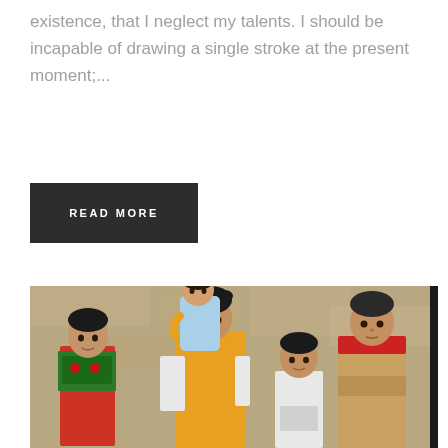existence, that I neglect my talents. I should be incapable of drawing a single stroke at the present moment;...
READ MORE
[Figure (photo): Group photo of five children standing against a stone/concrete wall. A teenage girl in a yellow top holds a toddler in blue. A boy on the left wears a Syrian revolutionary flag around his neck. Two other boys stand to the right.]